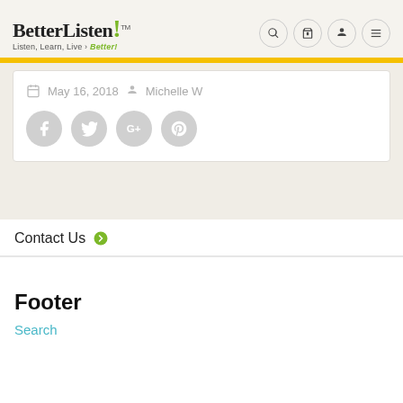BetterListen! TM — Listen, Learn, Live > Better!
May 16, 2018  Michelle W
[Figure (illustration): Social sharing buttons: Facebook, Twitter, Google+, Pinterest — grey circle icons]
Contact Us ➔
Footer
Search